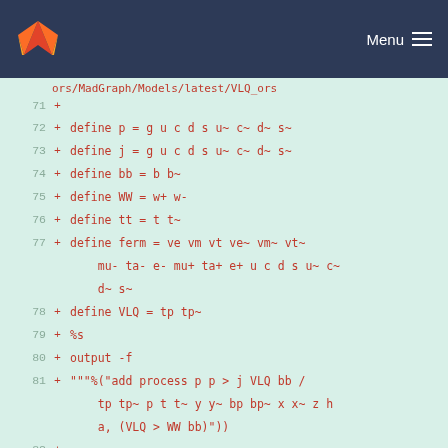Menu
[Figure (screenshot): GitLab code diff view showing lines 71-85 of a Python/MadGraph script with additions (green background, red text) defining particle processes including p, j, bb, WW, tt, ferm, VLQ particle definitions and process generation commands.]